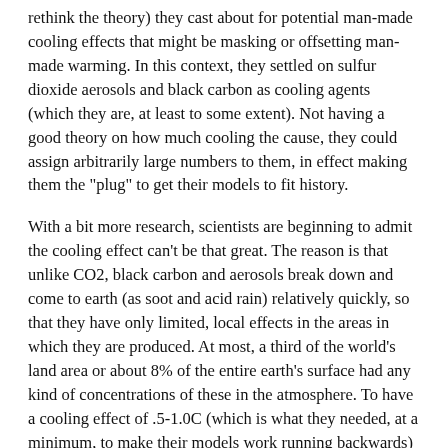rethink the theory) they cast about for potential man-made cooling effects that might be masking or offsetting man-made warming.  In this context, they settled on sulfur dioxide aerosols and black carbon as cooling agents (which they are, at least to some extent).  Not having a good theory on how much cooling the cause, they could assign arbitrarily large numbers to them, in effect making them the "plug" to get their models to fit history.
With a bit more research, scientists are beginning to admit the cooling effect can't be that great.  The reason is that unlike CO2, black carbon and aerosols break down and come to earth  (as soot and acid rain) relatively quickly, so that they have only limited, local effects in the areas in which they are produced.  At most, a third of the world's land area or about 8% of the entire earth's surface had any kind of concentrations of these in the atmosphere.  To have a cooling effect of .5-1.0C (which is what they needed, at a minimum, to make their models work running backwards) would imply aerosol were...